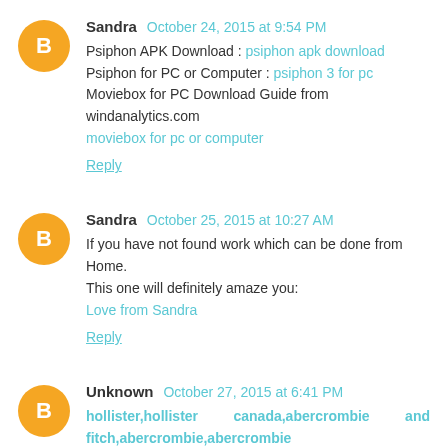Sandra October 24, 2015 at 9:54 PM
Psiphon APK Download : psiphon apk download
Psiphon for PC or Computer : psiphon 3 for pc
Moviebox for PC Download Guide from windanalytics.com
moviebox for pc or computer
Reply
Sandra October 25, 2015 at 10:27 AM
If you have not found work which can be done from Home. This one will definitely amaze you:
Love from Sandra
Reply
Unknown October 27, 2015 at 6:41 PM
hollister,hollister canada,abercrombie and fitch,abercrombie,abercrombie fitch,abercrombie kids,a&f